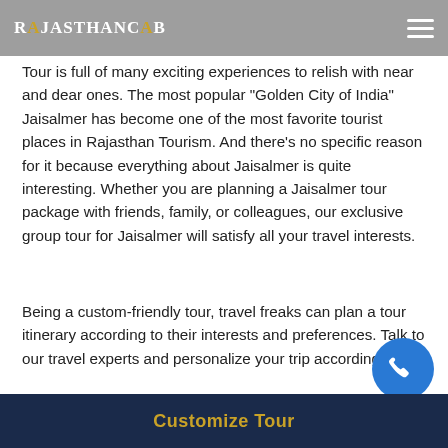Rajasthan Cab
Tour is full of many exciting experiences to relish with near and dear ones. The most popular “Golden City of India” Jaisalmer has become one of the most favorite tourist places in Rajasthan Tourism. And there’s no specific reason for it because everything about Jaisalmer is quite interesting. Whether you are planning a Jaisalmer tour package with friends, family, or colleagues, our exclusive group tour for Jaisalmer will satisfy all your travel interests.
Being a custom-friendly tour, travel freaks can plan a tour itinerary according to their interests and preferences. Talk to our travel experts and personalize your trip accordingly.
Duration: 3 Nights 4 Days
Customize Tour